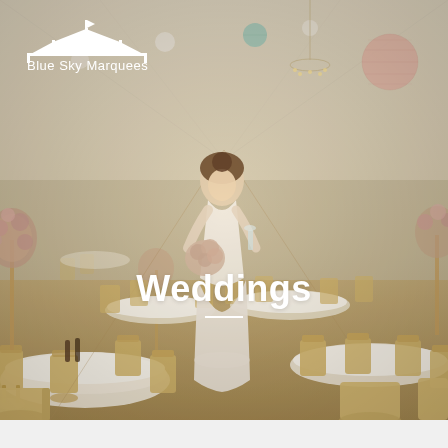[Figure (photo): A bride in a white wedding dress holding a bouquet stands in the center of a beautifully decorated marquee wedding venue. The marquee interior features gold chiavari chairs, round tables with white tablecloths, tall floral centerpieces, chandeliers, decorative paper lanterns hanging from the white ceiling, and warm wooden flooring. The overall color palette is cream, gold, and white.]
[Figure (logo): Blue Sky Marquees logo: white marquee/tent icon above the text 'Blue Sky Marquees' in white]
Weddings